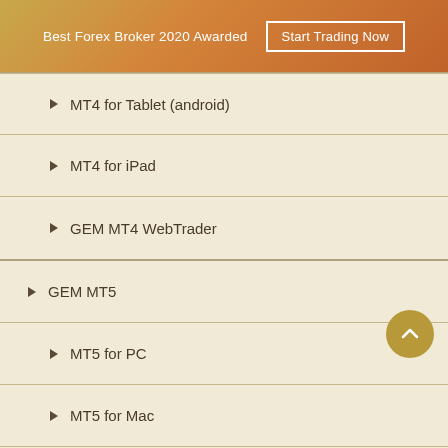Best Forex Broker 2020 Awarded   Start Trading Now
MT4 for Tablet (android)
MT4 for iPad
GEM MT4 WebTrader
GEM MT5
MT5 for PC
MT5 for Mac
MT5 for Android
MT5 for iPhone